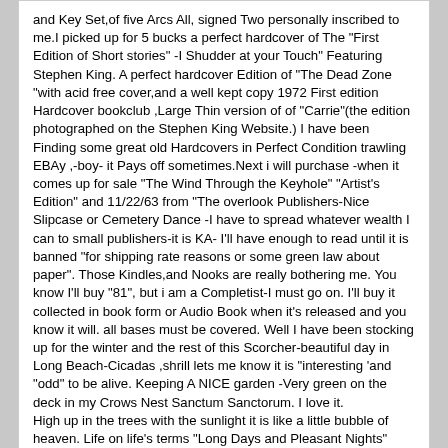and Key Set,of five Arcs All, signed Two personally inscribed to me.I picked up for 5 bucks a perfect hardcover of The "First Edition of Short stories" -I Shudder at your Touch" Featuring Stephen King. A perfect hardcover Edition of "The Dead Zone "with acid free cover,and a well kept copy 1972 First edition Hardcover bookclub ,Large Thin version of of "Carrie"(the edition photographed on the Stephen King Website.) I have been Finding some great old Hardcovers in Perfect Condition trawling EBAy ,-boy- it Pays off sometimes.Next i will purchase -when it comes up for sale "The Wind Through the Keyhole" "Artist's Edition" and 11/22/63 from "The overlook Publishers-Nice Slipcase or Cemetery Dance -I have to spread whatever wealth I can to small publishers-it is KA- I'll have enough to read until it is banned "for shipping rate reasons or some green law about paper". Those Kindles,and Nooks are really bothering me. You know I'll buy "81", but i am a Completist-I must go on. I'll buy it collected in book form or Audio Book when it's released and you know it will. all bases must be covered. Well I have been stocking up for the winter and the rest of this Scorcher-beautiful day in Long Beach-Cicadas ,shrill lets me know it is "interesting 'and "odd" to be alive. Keeping A NICE garden -Very green on the deck in my Crows Nest Sanctum Sanctorum. I love it.
High up in the trees with the sunlight it is like a little bubble of heaven. Life on life's terms "Long Days and Pleasant Nights" Thankee-ya big big Ya Big ,Big".Forum Bibliophiles.
mhatchett
Slightly off Kilter
1st Electroshock Session
Join Date: Jun 2011    Posts: 2356